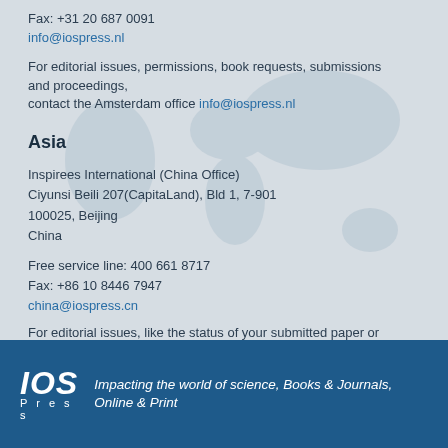Fax: +31 20 687 0091
info@iospress.nl
For editorial issues, permissions, book requests, submissions and proceedings, contact the Amsterdam office info@iospress.nl
Asia
Inspirees International (China Office)
Ciyunsi Beili 207(CapitaLand), Bld 1, 7-901
100025, Beijing
China
Free service line: 400 661 8717
Fax: +86 10 8446 7947
china@iospress.cn
For editorial issues, like the status of your submitted paper or proposals, write to editorial@iospress.nl
図図図図図図図図図図図図図図図図図図, 図図: editorial@iospress.nl
IOS Press — Impacting the world of science, Books & Journals, Online & Print